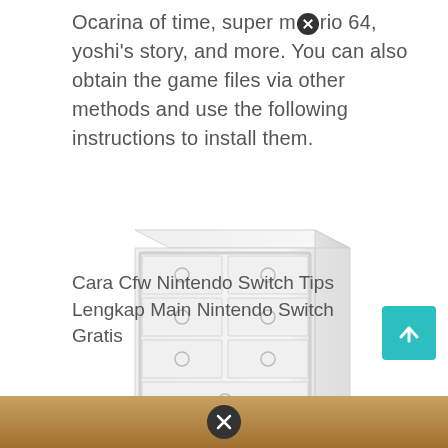Ocarina of time, super m[X]rio 64, yoshi's story, and more. You can also obtain the game files via other methods and use the following instructions to install them.
[Figure (illustration): A white dresser/chest of drawers with multiple drawers, shown at a slight angle. The dresser is white and has circular drawer pulls. The image appears faded/light.]
Cara Cfw Nintendo Switch Tips Lengkap Main Nintendo Switch Gratis